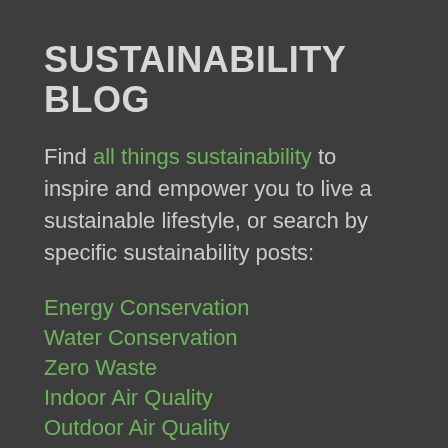SUSTAINABILITY BLOG
Find all things sustainability to inspire and empower you to live a sustainable lifestyle, or search by specific sustainability posts:
Energy Conservation
Water Conservation
Zero Waste
Indoor Air Quality
Outdoor Air Quality
Sustainable Food
Sustainable Fashion